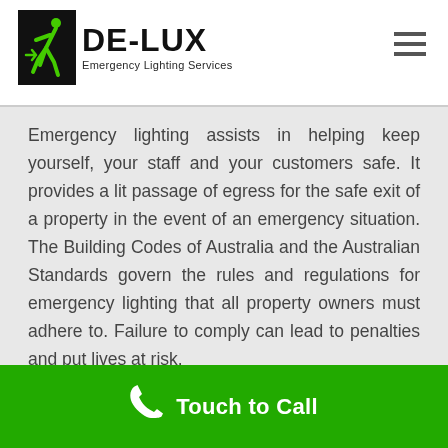DE-LUX Emergency Lighting Services
Emergency lighting assists in helping keep yourself, your staff and your customers safe. It provides a lit passage of egress for the safe exit of a property in the event of an emergency situation. The Building Codes of Australia and the Australian Standards govern the rules and regulations for emergency lighting that all property owners must adhere to. Failure to comply can lead to penalties and put lives at risk.
Touch to Call